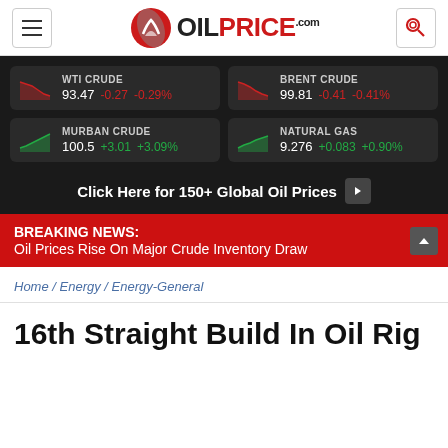OILPRICEcom
[Figure (screenshot): Oil price ticker showing WTI Crude 93.47 -0.27 -0.29%, Brent Crude 99.81 -0.41 -0.41%, Murban Crude 100.5 +3.01 +3.09%, Natural Gas 9.276 +0.083 +0.90%]
Click Here for 150+ Global Oil Prices
BREAKING NEWS: Oil Prices Rise On Major Crude Inventory Draw
Home / Energy / Energy-General
16th Straight Build In Oil Rig